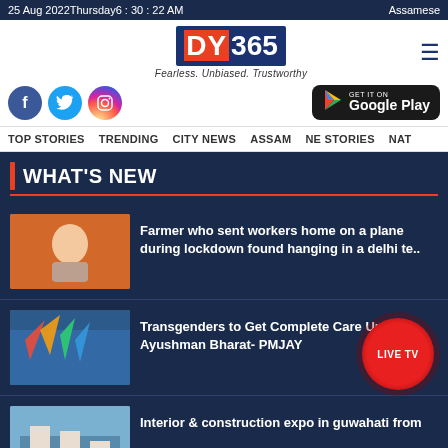25 Aug 2022Thursday6 : 30 : 22 AM   Assamese
[Figure (logo): DY365 logo with tagline Fearless. Unbiased. Trustworthy]
[Figure (logo): Social media icons (Facebook, Twitter, Instagram) and Google Play button]
TOP STORIES   TRENDING   CITY NEWS   ASSAM   NE STORIES   NAT
WHAT'S NEW
Farmer who sent workers home on a plane during lockdown found hanging in a delhi te..
Transgenders to Get Complete Care Under Ayushman Bharat- PMJAY
Interior & construction expo in guwahati from